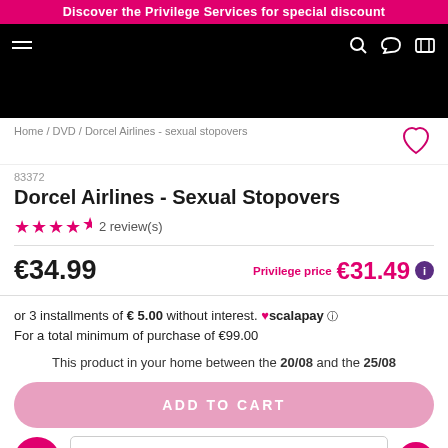Discover the Privilege Services for special discount
Home / DVD / Dorcel Airlines - sexual stopovers
83372
Dorcel Airlines - Sexual Stopovers
★★★★★ 2 review(s)
€34.99   Privilege price €31.49
or 3 installments of € 5.00 without interest. ♥scalapay ⓘ
For a total minimum of purchase of €99.00
This product in your home between the 20/08 and the 25/08
ADD TO CART